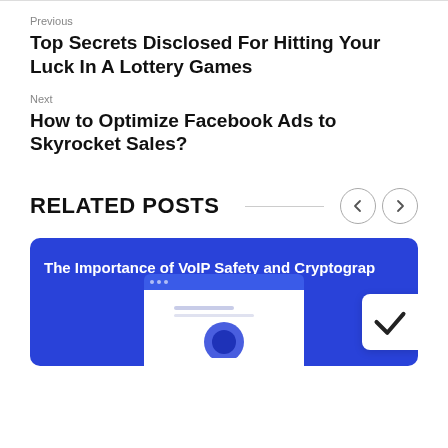Previous
Top Secrets Disclosed For Hitting Your Luck In A Lottery Games
Next
How to Optimize Facebook Ads to Skyrocket Sales?
RELATED POSTS
[Figure (screenshot): Blue card showing partial title 'The Importance of VoIP Safety and Cryptograp...' with a browser window illustration below it on blue background]